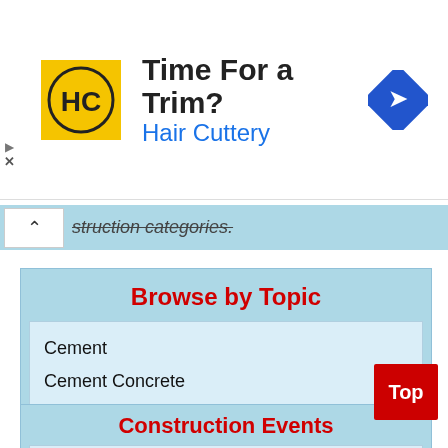[Figure (other): Hair Cuttery advertisement banner with logo, 'Time For a Trim?' headline, and navigation icon]
struction categories.
Browse by Topic
Cement
Cement Concrete
Glass
Inside Outside
Paints, Varnishes And Distermpers
Steel
Read More..
Construction Events
To Know more about the events about Air Conditioners,